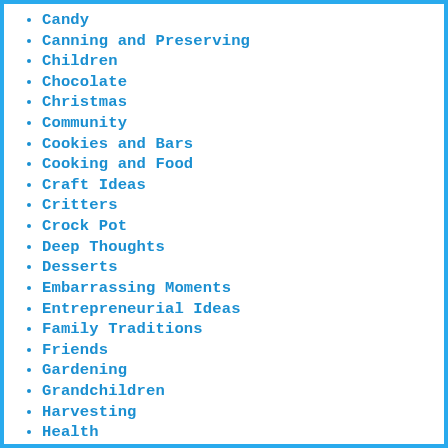Candy
Canning and Preserving
Children
Chocolate
Christmas
Community
Cookies and Bars
Cooking and Food
Craft Ideas
Critters
Crock Pot
Deep Thoughts
Desserts
Embarrassing Moments
Entrepreneurial Ideas
Family Traditions
Friends
Gardening
Grandchildren
Harvesting
Health
Holidays
Home Making
Home School
Main Dishes